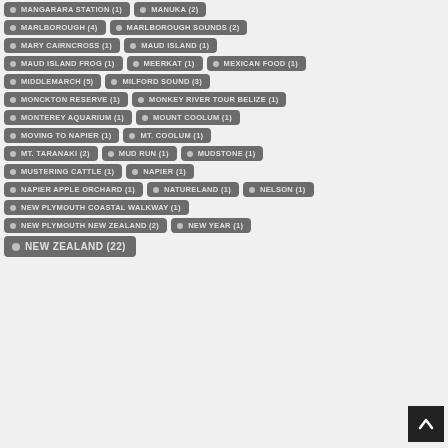MANGARARA STATION (1)
MANUKA (2)
MARLBOROUGH (4)
MARLBOROUGH SOUNDS (2)
MARY CAIRNCROSS (1)
MAUD ISLAND (1)
MAUD ISLAND FROG (1)
MEERKAT (1)
MEXICAN FOOD (1)
MIDDLEMARCH (5)
MILFORD SOUND (3)
MONCKTON RESERVE (1)
MONKEY RIVER TOUR BELIZE (1)
MONTEREY AQUARIUM (1)
MOUNT COOLUM (1)
MOVING TO NAPIER (1)
MT. COOLUM (1)
MT. TARANAKI (2)
MUD RUN (1)
MUDSTONE (1)
MUSTERING CATTLE (1)
NAPIER (1)
NAPIER APPLE ORCHARD (1)
NATURELAND (1)
NELSON (1)
NEW PLYMOUTH COASTAL WALKWAY (1)
NEW PLYMOUTH NEW ZEALAND (2)
NEW YEAR (1)
NEW ZEALAND (22)